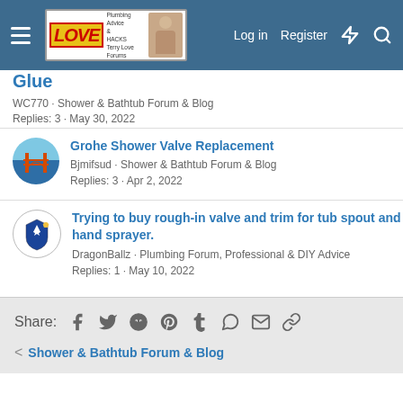Terry Love Forums – Log in | Register
Glue
WC770 · Shower & Bathtub Forum & Blog
Replies: 3 · May 30, 2022
Grohe Shower Valve Replacement
Bjmifsud · Shower & Bathtub Forum & Blog
Replies: 3 · Apr 2, 2022
Trying to buy rough-in valve and trim for tub spout and hand sprayer.
DragonBallz · Plumbing Forum, Professional & DIY Advice
Replies: 1 · May 10, 2022
Share:
< Shower & Bathtub Forum & Blog